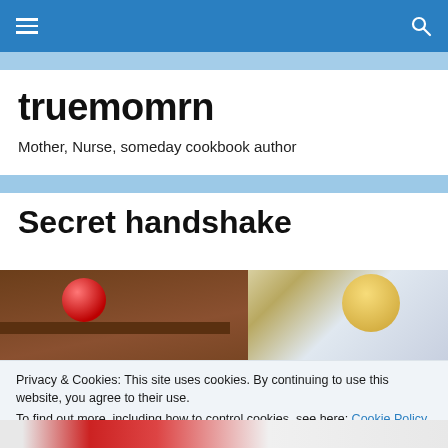truemomrn — navigation bar
truemomrn
Mother, Nurse, someday cookbook author
Secret handshake
[Figure (photo): Partial photo of a room with a dark wood shelf, a red ball/balloon, and a blond child visible on the right side]
Privacy & Cookies: This site uses cookies. By continuing to use this website, you agree to their use.
To find out more, including how to control cookies, see here: Cookie Policy
[Figure (photo): Partial photo strip at bottom showing what appears to be a child in a red garment]